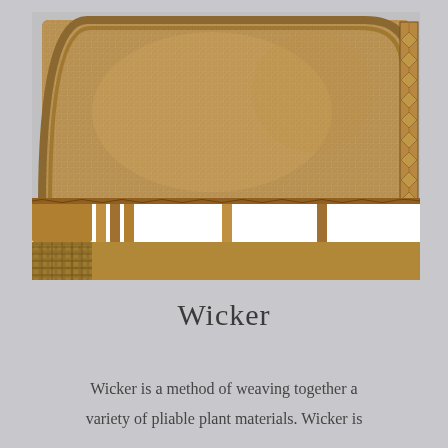[Figure (photo): Close-up photograph of wicker furniture showing intricate woven pattern with tan/natural colored rattan weave, visible structural frame elements, and decorative border trim. The piece appears to be a headboard or bench with an open lattice section near the bottom.]
Wicker
Wicker is a method of weaving together a variety of pliable plant materials. Wicker is